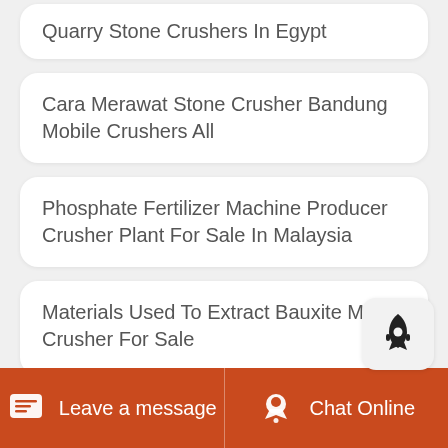Quarry Stone Crushers In Egypt
Cara Merawat Stone Crusher Bandung Mobile Crushers All
Phosphate Fertilizer Machine Producer Crusher Plant For Sale In Malaysia
Materials Used To Extract Bauxite Mines Crusher For Sale
Sbm Crusher C S Portable Plant
Leave a message  Chat Online